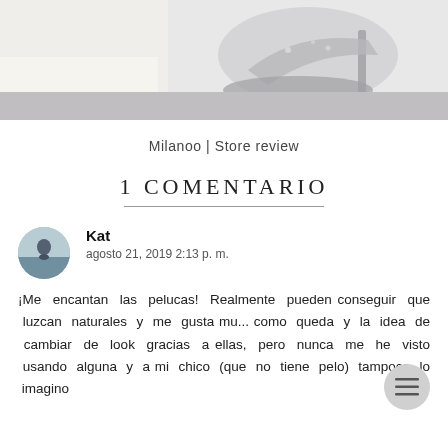[Figure (photo): Partial image of silver high-heel shoes with a gray and cream background, cut off at top]
Milanoo | Store review
1 COMENTARIO
Kat
agosto 21, 2019 2:13 p. m.
¡Me encantan las pelucas! Realmente pueden conseguir que luzcan naturales y me gusta mu... como queda y la idea de cambiar de look gracias a ellas, pero nunca me he visto usando alguna y a mi chico (que no tiene pelo) tampoco lo imagino